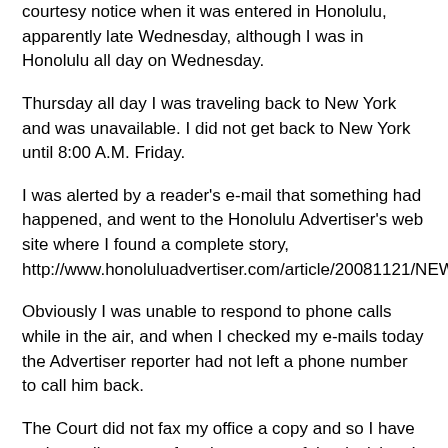courtesy notice when it was entered in Honolulu, apparently late Wednesday, although I was in Honolulu all day on Wednesday.
Thursday all day I was traveling back to New York and was unavailable. I did not get back to New York until 8:00 A.M. Friday.
I was alerted by a reader's e-mail that something had happened, and went to the Honolulu Advertiser's web site where I found a complete story, http://www.honoluluadvertiser.com/article/20081121/NEWS20/811210355/1001/localnewsfront.
Obviously I was unable to respond to phone calls while in the air, and when I checked my e-mails today the Advertiser reporter had not left a phone number to call him back.
The Court did not fax my office a copy and so I have no immediate way of seeing a copy of the decision. I assume the Advertiser's news report is a fair summary of the decision.